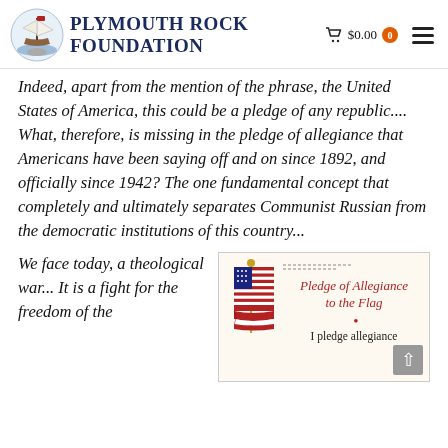Plymouth Rock Foundation  $0.00  0
Indeed, apart from the mention of the phrase, the United States of America, this could be a pledge of any republic.... What, therefore, is missing in the pledge of allegiance that Americans have been saying off and on since 1892, and officially since 1942?  The one fundamental concept that completely and ultimately separates Communist Russian from the democratic institutions of this country...
We face today, a theological war... It is a fight for the freedom of the
[Figure (illustration): Book/pamphlet cover showing an American flag on the left and text on the right: 'Pledge of Allegiance to the Flag' in red italic script, a red dot, and 'I pledge allegiance' in small print below. Decorative top lines at upper left. A back-to-top arrow button in the lower right corner.]